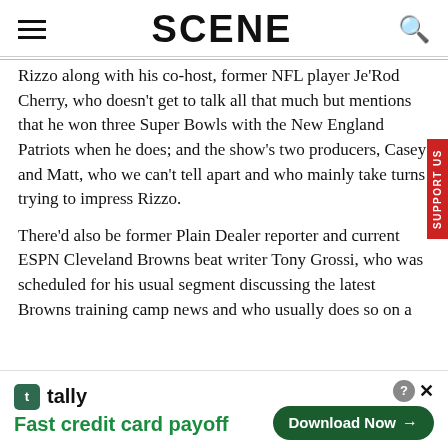SCENE
Rizzo along with his co-host, former NFL player Je'Rod Cherry, who doesn't get to talk all that much but mentions that he won three Super Bowls with the New England Patriots when he does; and the show's two producers, Casey and Matt, who we can't tell apart and who mainly take turns trying to impress Rizzo.
There'd also be former Plain Dealer reporter and current ESPN Cleveland Browns beat writer Tony Grossi, who was scheduled for his usual segment discussing the latest Browns training camp news and who usually does so on a
[Figure (other): Advertisement banner for Tally app: 'Fast credit card payoff' with Download Now button]